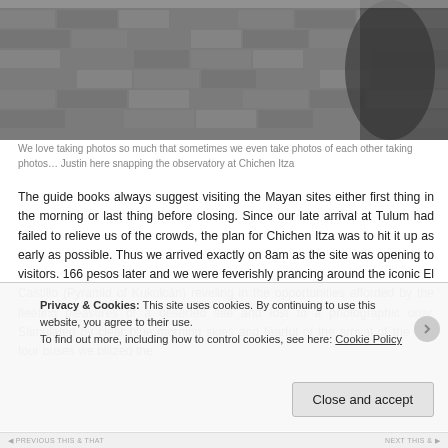[Figure (photo): Black and white photo of ancient stone wall structure at Chichen Itza, with a person visible on the right side taking a photo]
We love taking photos so much that sometimes we even take photos of each other taking photos… Justin here snapping the observatory at Chichen Itza
The guide books always suggest visiting the Mayan sites either first thing in the morning or last thing before closing. Since our late arrival at Tulum had failed to relieve us of the crowds, the plan for Chichen Itza was to hit it up as early as possible. Thus we arrived exactly on 8am as the site was opening to visitors. 166 pesos later and we were feverishly prancing around the iconic El Castillo (Pyramid of Kukulcán) reveling in the opportunities afforded by the fleeting pleasures of a deserted site and lost to a photographic orgy. Stimulated by clear blue morning skies and fearful of the arrival of the first tour buses we blitzed the
Privacy & Cookies: This site uses cookies. By continuing to use this website, you agree to their use.
To find out more, including how to control cookies, see here: Cookie Policy
Close and accept